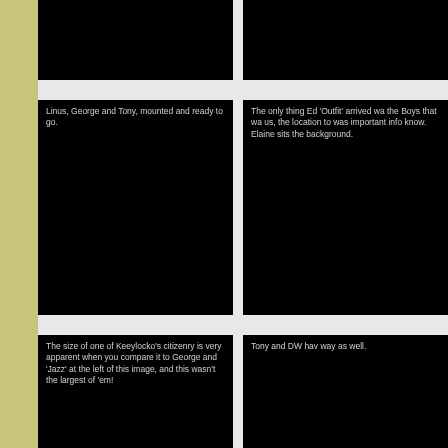[Figure (photo): Black photo panel, top left, no caption text visible]
[Figure (photo): Black photo panel, top right, no caption text visible]
Linus, George and Tony, mounted and ready to go.
[Figure (photo): Black photo panel, middle left, with caption about Linus, George and Tony mounted and ready to go]
The only thing Ed 'Outfit' arrived was the Boys that was us, the location to was important info know. Elaine sits a the background.
[Figure (photo): Black photo panel, middle right, with partial caption about Ed Outfit arriving]
The size of one of Keeylocko's citizenry is very apparent when you compare it to George and 'Jazz' at the left of this image, and this wasn't the largest of 'em!
[Figure (photo): Black photo panel, bottom left, with caption about Keeylocko's citizenry size]
Tony and DW hav way as well.
[Figure (photo): Black photo panel, bottom right, with partial caption about Tony and DW]